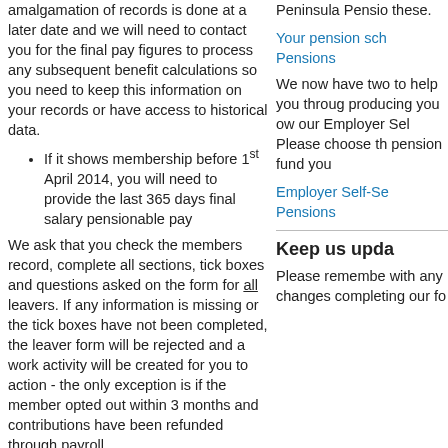amalgamation of records is done at a later date and we will need to contact you for the final pay figures to process any subsequent benefit calculations so you need to keep this information on your records or have access to historical data.
If it shows membership before 1st April 2014, you will need to provide the last 365 days final salary pensionable pay
We ask that you check the members record, complete all sections, tick boxes and questions asked on the form for all leavers. If any information is missing or the tick boxes have not been completed, the leaver form will be rejected and a work activity will be created for you to action - the only exception is if the member opted out within 3 months and contributions have been refunded through payroll.
Please see our website for help with
Peninsula Pensions these.
Your pension sch Pensions
We now have two to help you through producing you ow our Employer Sel Please choose th pension fund you
Employer Self-Se Pensions
Keep us upda
Please remember with any changes completing our fo